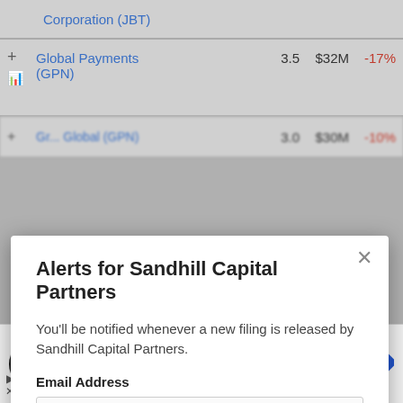|  | Name | Score | Amount | Change |
| --- | --- | --- | --- | --- |
|  | Corporation (JBT) |  |  |  |
| + | Global Payments (GPN) | 3.5 | $32M | -17% |
|  | Blurred row (GPN?) | 3.0 | $30M | -10% |
Alerts for Sandhill Capital Partners
You'll be notified whenever a new filing is released by Sandhill Capital Partners.
Email Address
Enter your email
[Figure (screenshot): Advertisement banner for Back To School Essentials at Leesburg Premium Outlets with logo and navigation arrow icon]